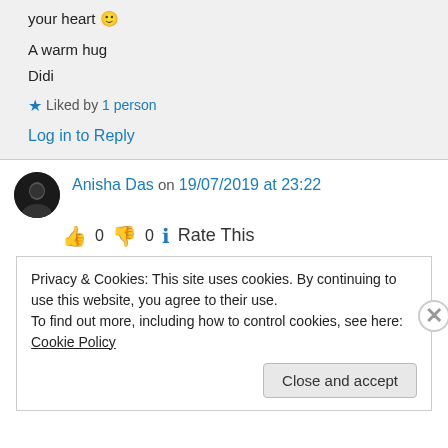your heart 🙂
A warm hug
Didi
★ Liked by 1 person
Log in to Reply
Anisha Das on 19/07/2019 at 23:22
👍 0 👎 0 ℹ Rate This
Privacy & Cookies: This site uses cookies. By continuing to use this website, you agree to their use.
To find out more, including how to control cookies, see here: Cookie Policy
Close and accept